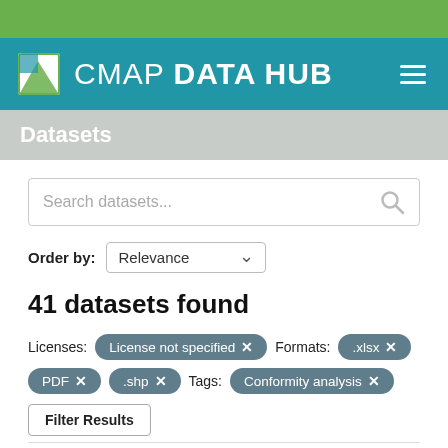CMAP DATA HUB
Datasets
Search datasets...
Order by: Relevance
41 datasets found
Licenses: License not specified ×   Formats: .xlsx ×
PDF ×   .shp ×   Tags: Conformity analysis ×
Filter Results